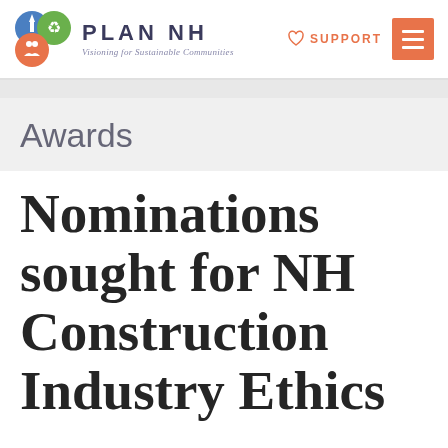PLAN NH — Visioning for Sustainable Communities | SUPPORT
Awards
Nominations sought for NH Construction Industry Ethics